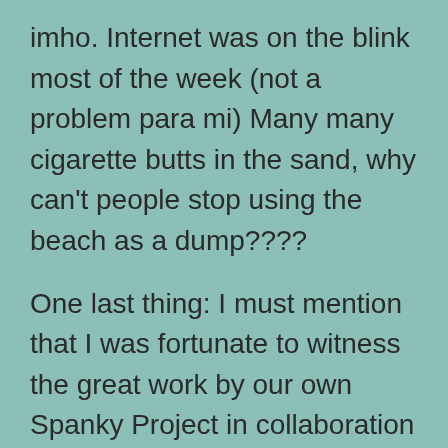imho. Internet was on the blink most of the week (not a problem para mi) Many many cigarette butts in the sand, why can't people stop using the beach as a dump????
One last thing: I must mention that I was fortunate to witness the great work by our own Spanky Project in collaboration with the Varadero APAC (animal protection organization) in collaboration with Ana, the delightful Tainos manager and animal lover, who signed up the hotel to participate in a free spaying/neutering activity on the site when we were there. All of the cats were gently captured